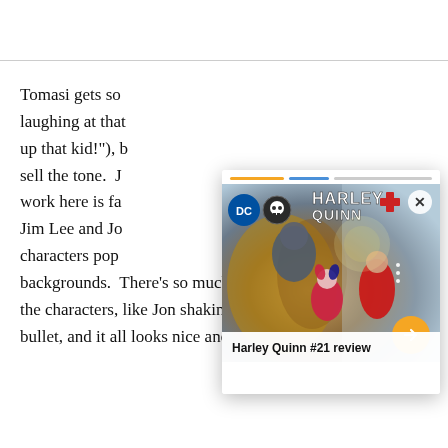Tomasi gets sor laughing at that up that kid!"), bu sell the tone. J work here is fa Jim Lee and Jo characters pop backgrounds. There's so much personality injected into the characters, like Jon shaking off the pain of catching a bullet, and it all looks nice and crisp.
[Figure (screenshot): Popup overlay card showing Harley Quinn #21 comic cover with characters, progress bar at top, close X button, arrow navigation button, and title caption 'Harley Quinn #21 review']